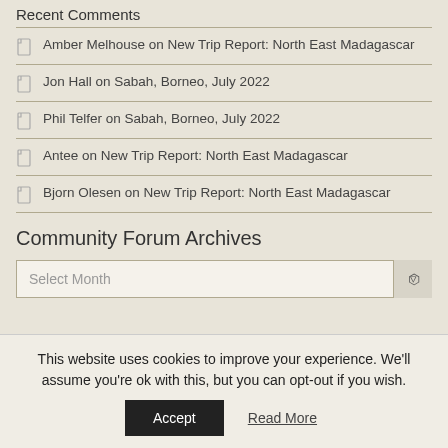Recent Comments
Amber Melhouse on New Trip Report: North East Madagascar
Jon Hall on Sabah, Borneo, July 2022
Phil Telfer on Sabah, Borneo, July 2022
Antee on New Trip Report: North East Madagascar
Bjorn Olesen on New Trip Report: North East Madagascar
Community Forum Archives
Select Month
This website uses cookies to improve your experience. We'll assume you're ok with this, but you can opt-out if you wish.
Accept
Read More